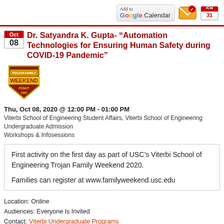[Figure (screenshot): Add to Google Calendar button and email/iCal icons at top right]
Dr. Satyandra K. Gupta- “Automation Technologies for Ensuring Human Safety during COVID-19 Pandemic”
[Figure (logo): Trojan Family Weekend Fight On! shield logo]
Thu, Oct 08, 2020 @ 12:00 PM - 01:00 PM
Viterbi School of Engineering Student Affairs, Viterbi School of Engineering Undergraduate Admission
Workshops & Infosessions
First activity on the first day as part of USC’s Viterbi School of Engineering Trojan Family Weekend 2020.

Families can register at www.familyweekend.usc.edu
Location: Online
Audiences: Everyone Is Invited
Contact: Viterbi Undergraduate Programs
[Figure (screenshot): Add to Google Calendar button and email/iCal icons at bottom right]